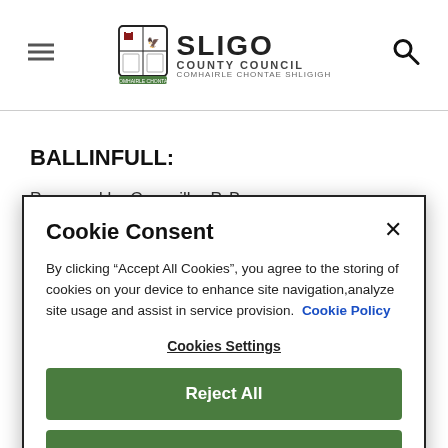Sligo County Council
BALLINFULL:
Proposed by Councillor P. Barry
Seconded by Councillor A. Higgins
Cookie Consent
By clicking “Accept All Cookies”, you agree to the storing of cookies on your device to enhance site navigation,analyze site usage and assist in service provision.  Cookie Policy
Cookies Settings
Reject All
Accept All Cookies